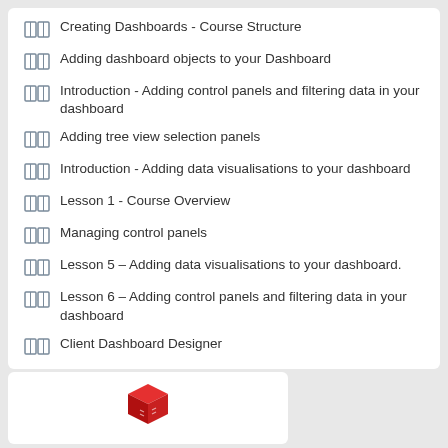Creating Dashboards - Course Structure
Adding dashboard objects to your Dashboard
Introduction - Adding control panels and filtering data in your dashboard
Adding tree view selection panels
Introduction - Adding data visualisations to your dashboard
Lesson 1 - Course Overview
Managing control panels
Lesson 5 – Adding data visualisations to your dashboard.
Lesson 6 – Adding control panels and filtering data in your dashboard
Client Dashboard Designer
[Figure (logo): Red cube/box icon]